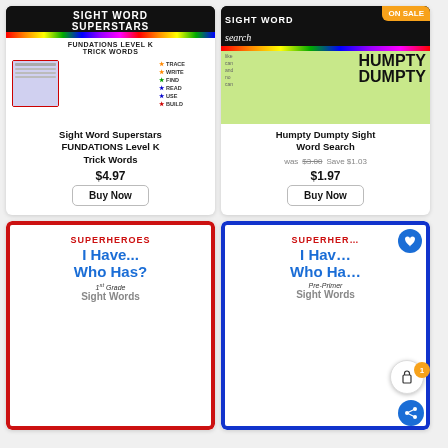[Figure (other): Product card: Sight Word Superstars FUNDATIONS Level K Trick Words worksheet activity]
Sight Word Superstars FUNDATIONS Level K Trick Words
$4.97
[Figure (other): Product card: Humpty Dumpty Sight Word Search, ON SALE badge]
Humpty Dumpty Sight Word Search
was $3.00   Save $1.03
$1.97
[Figure (other): Product card: Superheroes I Have... Who Has? 1st Grade Sight Words]
[Figure (other): Product card: Superheroes I Have... Who Has? Pre-Primer Sight Words (partially obscured by UI overlays)]